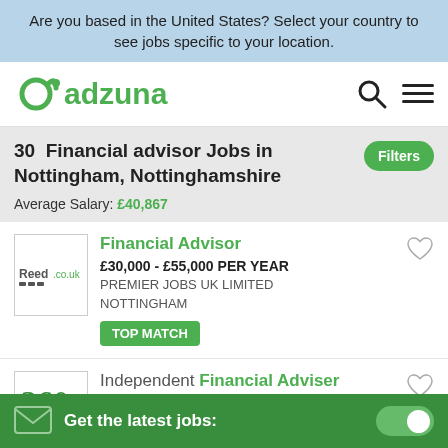Are you based in the United States? Select your country to see jobs specific to your location.
[Figure (logo): Adzuna logo - green circular arrow icon with text 'adzuna' in green]
30  Financial advisor Jobs in Nottingham, Nottinghamshire
Average Salary: £40,867
Financial Advisor
£30,000 - £55,000 PER YEAR
PREMIER JOBS UK LIMITED
NOTTINGHAM
TOP MATCH
Independent Financial Adviser
£5000.00 - £9000.00 & PER YEAR
Get the latest jobs: